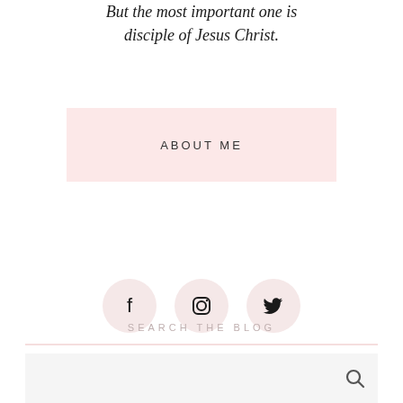But the most important one is disciple of Jesus Christ.
ABOUT ME
[Figure (other): Social media icons: Facebook, Instagram, Twitter in pink circles]
SEARCH THE BLOG
[Figure (other): Search input box with search icon]